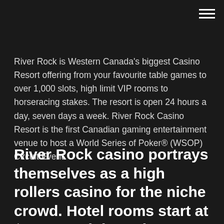River Rock is Western Canada's biggest Casino Resort offering from your favourite table games to over 1,000 slots, high limit VIP rooms to horseracing stakes. The resort is open 24 hours a day, seven days a week. River Rock Casino Resort is the first Canadian gaming entertainment venue to host a World Series of Poker® (WSOP) Circuit Event.
River Rock casino portrays themselves as a high rollers casino for the niche crowd. Hotel rooms start at $300 per night and up. I'm not here to talk about the hotel but the buffet at the River